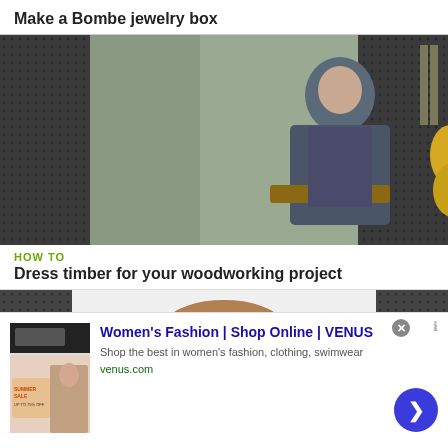Make a Bombe jewelry box
[Figure (screenshot): Video thumbnail showing a man in a workshop/store holding a piece of wood, with tools and guitars visible in the background. Dark sidebars on left and right.]
HOW TO
Dress timber for your woodworking project
[Figure (screenshot): Partial video thumbnail showing a woodworking item, with dark sidebars on left and right.]
[Figure (screenshot): Advertisement: Women's Fashion | Shop Online | VENUS. Shop the best in women's fashion, clothing, swimwear. venus.com]